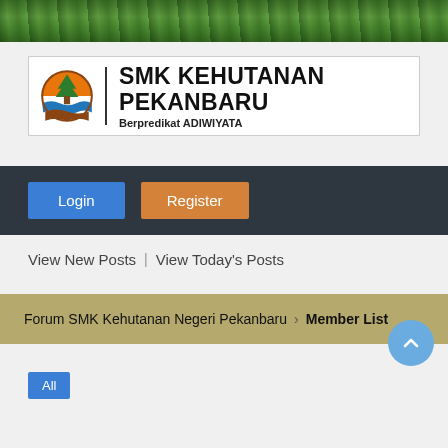[Figure (photo): Forest/tree top banner image in green tones]
[Figure (logo): SMK Kehutanan Pekanbaru logo with forestry emblem, school name and tagline 'Berpredikat ADIWIYATA']
Login
Register
View New Posts   View Today's Posts
Forum SMK Kehutanan Negeri Pekanbaru › Member List